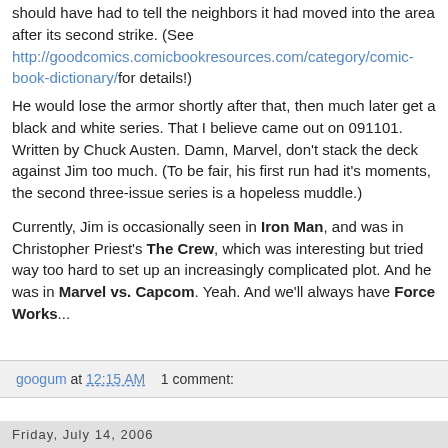should have had to tell the neighbors it had moved into the area after its second strike. (See http://goodcomics.comicbookresources.com/category/comic-book-dictionary/ for details!)
He would lose the armor shortly after that, then much later get a black and white series. That I believe came out on 091101. Written by Chuck Austen. Damn, Marvel, don't stack the deck against Jim too much. (To be fair, his first run had it's moments, the second three-issue series is a hopeless muddle.)
Currently, Jim is occasionally seen in Iron Man, and was in Christopher Priest's The Crew, which was interesting but tried way too hard to set up an increasingly complicated plot. And he was in Marvel vs. Capcom. Yeah. And we'll always have Force Works...
googum at 12:15 AM   1 comment:
Friday, July 14, 2006